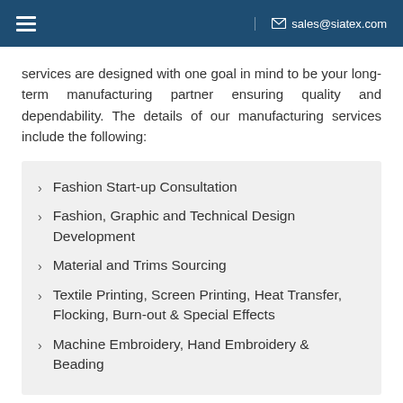sales@siatex.com
services are designed with one goal in mind to be your long-term manufacturing partner ensuring quality and dependability. The details of our manufacturing services include the following:
Fashion Start-up Consultation
Fashion, Graphic and Technical Design Development
Material and Trims Sourcing
Textile Printing, Screen Printing, Heat Transfer, Flocking, Burn-out & Special Effects
Machine Embroidery, Hand Embroidery & Beading